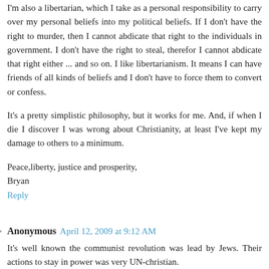I'm also a libertarian, which I take as a personal responsibility to carry over my personal beliefs into my political beliefs. If I don't have the right to murder, then I cannot abdicate that right to the individuals in government. I don't have the right to steal, therefor I cannot abdicate that right either ... and so on. I like libertarianism. It means I can have friends of all kinds of beliefs and I don't have to force them to convert or confess.
It's a pretty simplistic philosophy, but it works for me. And, if when I die I discover I was wrong about Christianity, at least I've kept my damage to others to a minimum.
Peace,liberty, justice and prosperity,
Bryan
Reply
Anonymous  April 12, 2009 at 9:12 AM
It's well known the communist revolution was lead by Jews. Their actions to stay in power was very UN-christian.
Reply